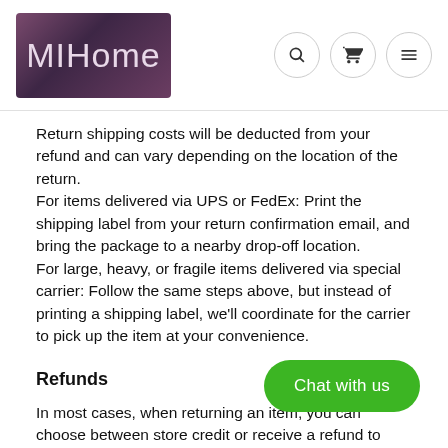MIHome
Return shipping costs will be deducted from your refund and can vary depending on the location of the return.
For items delivered via UPS or FedEx: Print the shipping label from your return confirmation email, and bring the package to a nearby drop-off location.
For large, heavy, or fragile items delivered via special carrier: Follow the same steps above, but instead of printing a shipping label, we'll coordinate for the carrier to pick up the item at your convenience.
Refunds
In most cases, when returning an item, you can choose between store credit or receive a refund to your original payment method.
Canceling Returns
Already filled out the return form but changed your